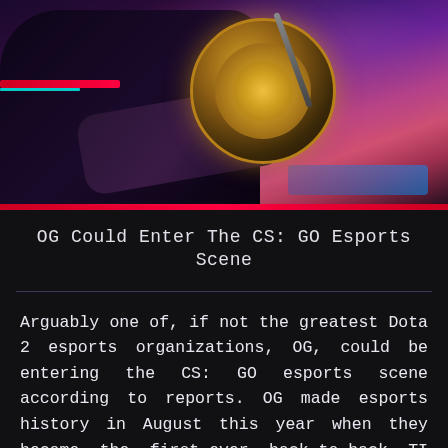[Figure (photo): Esports player at a gaming station wearing headphones with a glowing team logo, illuminated by purple and pink stage lighting. Dark atmospheric background.]
OG Could Enter The CS: GO Esports Scene
Arguably one of, if not the greatest Dota 2 esports organizations, OG, could be entering the CS: GO esports scene according to reports. OG made esports history in August this year when they became the first-ever back-to-back TI champions against all possible odds. Now, the organization is reportedly setting their sights on CS: GO esports.